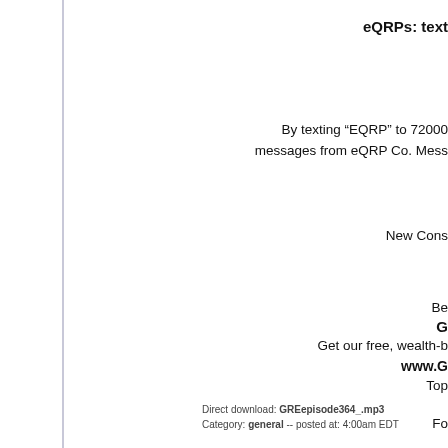eQRPs: text
By texting “EQRP” to 72000 messages from eQRP Co. Mess
New Const
Be
G
Get our free, wealth-b
www.G
Top
Direct download: GREepisode364_.mp3
Category: general -- posted at: 4:00am EDT